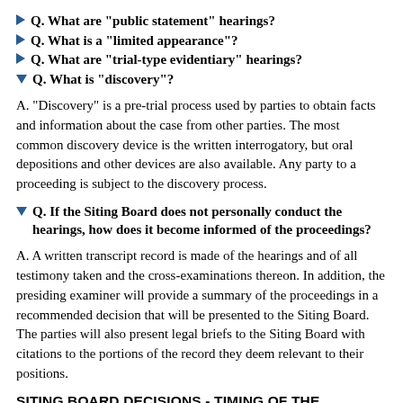Q. What are "public statement" hearings?
Q. What is a "limited appearance"?
Q. What are "trial-type evidentiary" hearings?
Q. What is "discovery"?
A. "Discovery" is a pre-trial process used by parties to obtain facts and information about the case from other parties. The most common discovery device is the written interrogatory, but oral depositions and other devices are also available. Any party to a proceeding is subject to the discovery process.
Q. If the Siting Board does not personally conduct the hearings, how does it become informed of the proceedings?
A. A written transcript record is made of the hearings and of all testimony taken and the cross-examinations thereon. In addition, the presiding examiner will provide a summary of the proceedings in a recommended decision that will be presented to the Siting Board. The parties will also present legal briefs to the Siting Board with citations to the portions of the record they deem relevant to their positions.
SITING BOARD DECISIONS - TIMING OF THE DECISION